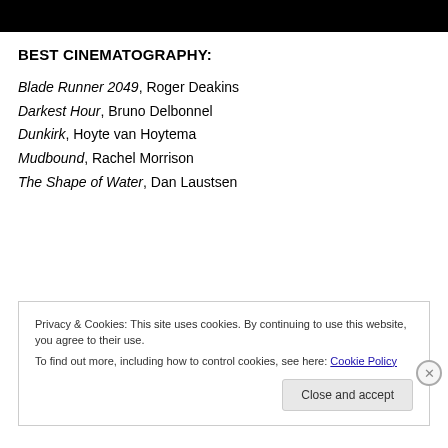[Figure (photo): Black bar at top of page, likely cropped image or header graphic]
BEST CINEMATOGRAPHY:
Blade Runner 2049, Roger Deakins
Darkest Hour, Bruno Delbonnel
Dunkirk, Hoyte van Hoytema
Mudbound, Rachel Morrison
The Shape of Water, Dan Laustsen
Privacy & Cookies: This site uses cookies. By continuing to use this website, you agree to their use. To find out more, including how to control cookies, see here: Cookie Policy